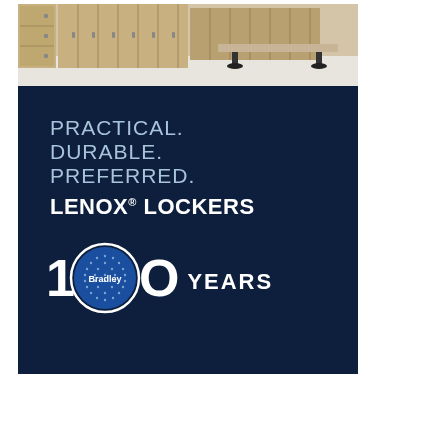[Figure (photo): Photograph of a locker room with tan/beige metal lockers arranged in rows and a bench in the center on a white floor.]
[Figure (illustration): Dark navy blue advertisement panel for Bradley Lenox Lockers. Contains tagline text 'PRACTICAL. DURABLE. PREFERRED.' followed by 'LENOX LOCKERS' in bold white. Below is a '100 YEARS' logo with the Bradley globe logo replacing the first zero in '100'.]